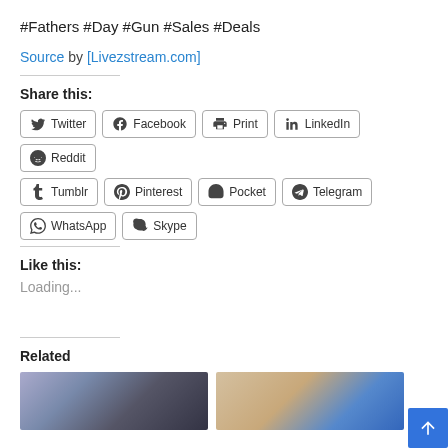#Fathers #Day #Gun #Sales #Deals
Source by [Livezstream.com]
Share this:
Twitter Facebook Print LinkedIn Reddit Tumblr Pinterest Pocket Telegram WhatsApp Skype
Like this:
Loading...
Related
[Figure (photo): Two related article thumbnail images at bottom of page]